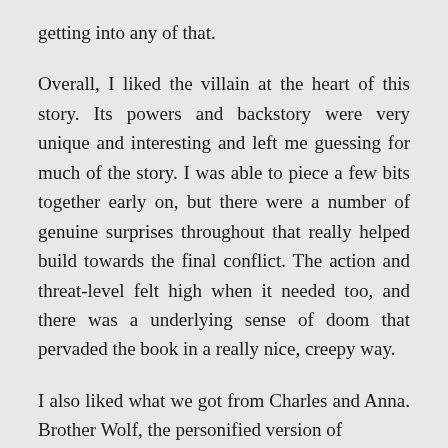getting into any of that.
Overall, I liked the villain at the heart of this story. Its powers and backstory were very unique and interesting and left me guessing for much of the story. I was able to piece a few bits together early on, but there were a number of genuine surprises throughout that really helped build towards the final conflict. The action and threat-level felt high when it needed too, and there was a underlying sense of doom that pervaded the book in a really nice, creepy way.
I also liked what we got from Charles and Anna. Brother Wolf, the personified version of